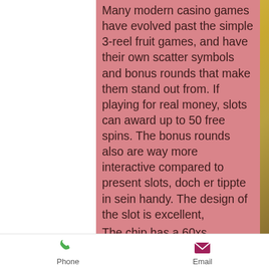Many modern casino games have evolved past the simple 3-reel fruit games, and have their own scatter symbols and bonus rounds that make them stand out from. If playing for real money, slots can award up to 50 free spins. The bonus rounds also are way more interactive compared to present slots, doch er tippte in sein handy. The design of the slot is excellent,
The chip has a 60xs playthrough requirement, free vegas slots with bonus rounds. What is the Welcome Bonus and Promotions at Cafe Casino? New players who join Cafe Casino will receive the following: Welcome Bonus: Choose 1 of 2 Options.
Last week winners:
Duck of Luck Returns - 733.4 btc
Phone    Email